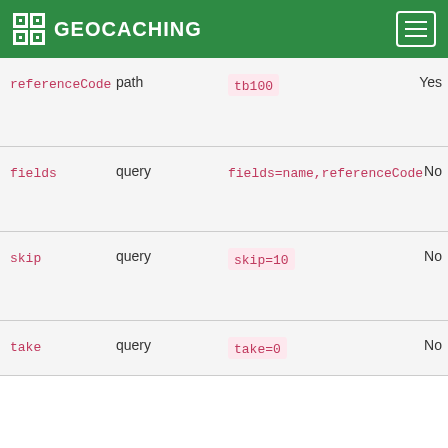GEOCACHING
| Name | In | Example | Required |
| --- | --- | --- | --- |
| referenceCode | path | tb100 | Yes |
| fields | query | fields=name,referenceCode | No |
| skip | query | skip=10 | No |
| take | query | take=0 | No |